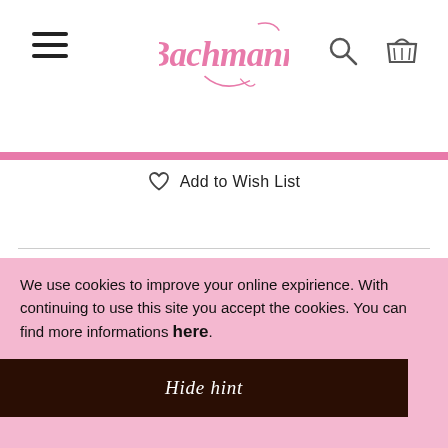Bachmann
Add to Wish List
Description
Hausgemachte Bio Limo Exotic – leicht und einfach exotic.
Product information
We use cookies to improve your online expirience. With continuing to use this site you accept the cookies. You can find more informations here.
Hide hint